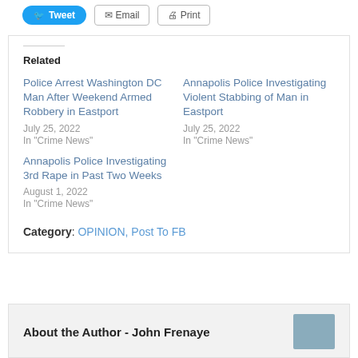Tweet | Email | Print
Related
Police Arrest Washington DC Man After Weekend Armed Robbery in Eastport
July 25, 2022
In "Crime News"
Annapolis Police Investigating Violent Stabbing of Man in Eastport
July 25, 2022
In "Crime News"
Annapolis Police Investigating 3rd Rape in Past Two Weeks
August 1, 2022
In "Crime News"
Category: OPINION, Post To FB
About the Author - John Frenaye